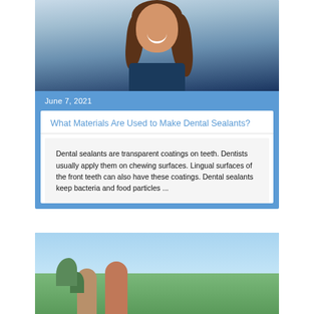[Figure (photo): Smiling woman with brown hair, resting chin on hand, wearing dark blue top]
June 7, 2021
What Materials Are Used to Make Dental Sealants?
Dental sealants are transparent coatings on teeth. Dentists usually apply them on chewing surfaces. Lingual surfaces of the front teeth can also have these coatings. Dental sealants keep bacteria and food particles ...
[Figure (photo): Two people outdoors with green trees and blue sky in background]